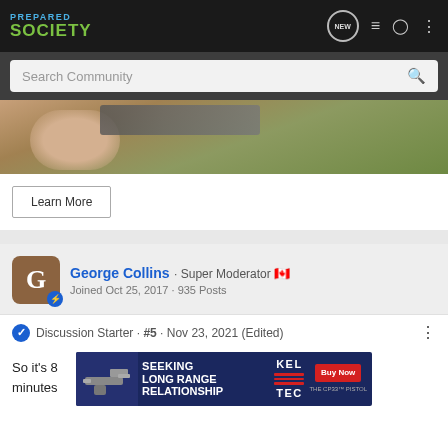Prepared Society — navigation bar with logo, NEW button, list icon, user icon, more icon
Search Community
[Figure (photo): Close-up outdoor photo showing a person's arm/hand near ammunition and a folding table on grass]
Learn More
George Collins · Super Moderator 🇨🇦
Joined Oct 25, 2017 · 935 Posts
Discussion Starter · #5 · Nov 23, 2021 (Edited)
So it's 8... A few minutes... was
[Figure (advertisement): Kel-Tec CP33 pistol advertisement: 'SEEKING LONG RANGE RELATIONSHIP' with Buy Now button]